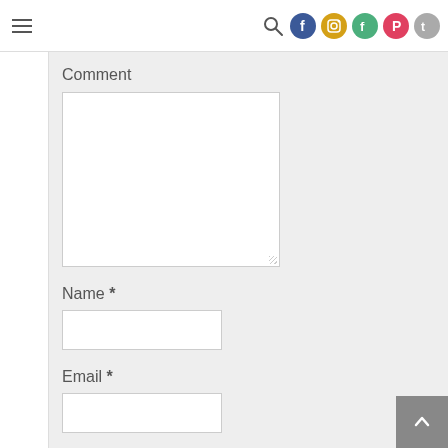Navigation header with hamburger menu and social media icons
Comment
Name *
Email *